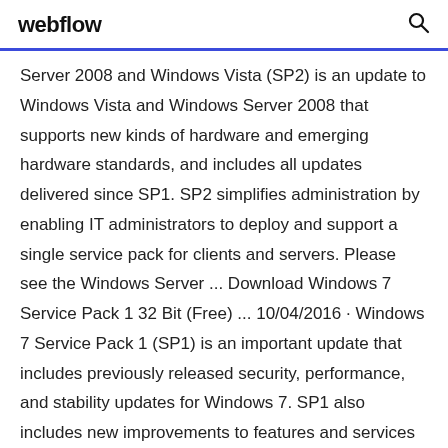webflow
Server 2008 and Windows Vista (SP2) is an update to Windows Vista and Windows Server 2008 that supports new kinds of hardware and emerging hardware standards, and includes all updates delivered since SP1. SP2 simplifies administration by enabling IT administrators to deploy and support a single service pack for clients and servers. Please see the Windows Server ... Download Windows 7 Service Pack 1 32 Bit (Free) ... 10/04/2016 · Windows 7 Service Pack 1 (SP1) is an important update that includes previously released security, performance, and stability updates for Windows 7. SP1 also includes new improvements to features and services in